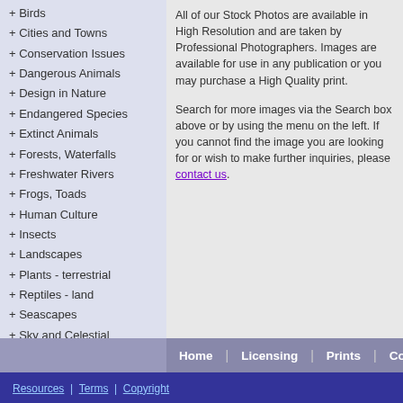+ Birds
+ Cities and Towns
+ Conservation Issues
+ Dangerous Animals
+ Design in Nature
+ Endangered Species
+ Extinct Animals
+ Forests, Waterfalls
+ Freshwater Rivers
+ Frogs, Toads
+ Human Culture
+ Insects
+ Landscapes
+ Plants - terrestrial
+ Reptiles - land
+ Seascapes
+ Sky and Celestial
New Images
+ Images added by Month
Images by Country
+ Countries
All of our Stock Photos are available in High Re... Professional Photographers. Images are availa... publication or you may purchase a High Quality...
Search for more images via the Search box ab... the left. If you cannot find the image you are lo... make further inquiries, please contact us.
Home | Licensing | Prints | Conta...
Resources | Terms | Copyright